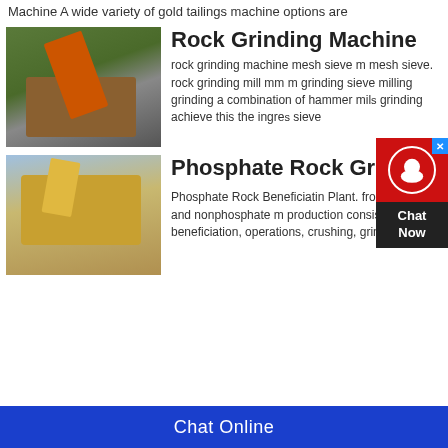Machine A wide variety of gold tailings machine options are
Rock Grinding Machine
[Figure (photo): Photo of a large orange excavator working at an outdoor mining/crushing site with conveyor and crusher equipment, green forested hills in background.]
rock grinding machine mesh sieve mesh sieve. rock grinding mill mm grinding sieve milling grinding a combination of hammer mil s grinding achieve this the ingre s sieve
Phosphate Rock Grindin
[Figure (photo): Photo of yellow/gold colored phosphate rock grinding or crushing machinery at an outdoor site.]
Phosphate Rock Beneficiatin Plant. from impurities and nonphosphate m production consists of beneficiation, operations, crushing, grinding and c
Chat Online